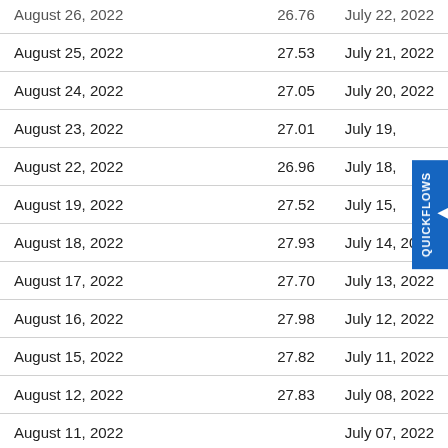| Date | Value | Date |
| --- | --- | --- |
| August 26, 2022 | 26.76 | July 22, 2022 |
| August 25, 2022 | 27.53 | July 21, 2022 |
| August 24, 2022 | 27.05 | July 20, 2022 |
| August 23, 2022 | 27.01 | July 19, … |
| August 22, 2022 | 26.96 | July 18, … |
| August 19, 2022 | 27.52 | July 15, … |
| August 18, 2022 | 27.93 | July 14, 2022 |
| August 17, 2022 | 27.70 | July 13, 2022 |
| August 16, 2022 | 27.98 | July 12, 2022 |
| August 15, 2022 | 27.82 | July 11, 2022 |
| August 12, 2022 | 27.83 | July 08, 2022 |
| August 11, 2022 | … | July 07, 2022 |